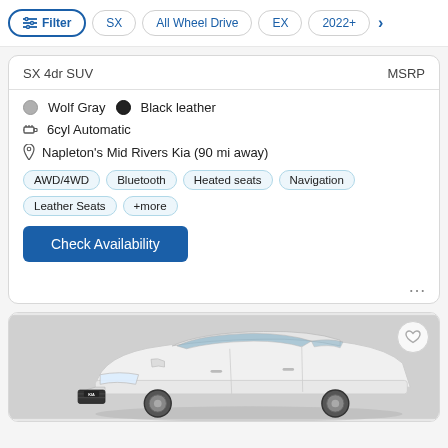Filter | SX | All Wheel Drive | EX | 2022+
| SX 4dr SUV | MSRP |
| --- | --- |
Wolf Gray  Black leather
6cyl Automatic
Napleton's Mid Rivers Kia (90 mi away)
AWD/4WD
Bluetooth
Heated seats
Navigation
Leather Seats
+more
Check Availability
[Figure (photo): White Kia SUV (Telluride or similar) viewed from front-left angle]